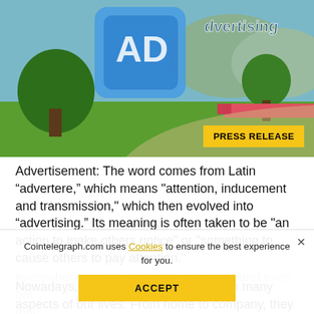[Figure (photo): Hero banner image showing a park scene with green grass and trees. A blue stylized logo/text graphic is visible in the upper left. A yellow 'PRESS RELEASE' badge is in the lower right corner of the image.]
Advertisement: The word comes from Latin “advertere,” which means "attention, inducement and transmission," which then evolved into “advertising.” Its meaning is often taken to be "an action to make others notice" or "something to cause others to pay attention."
Nowadays, advertising is integrated into many aspects of our lives. From home to company, they are everywhere: buses, subways, elevators and even bathrooms. You can see advertising in the most mol... s there as well: Search, Source, Game, Forum, Social...
Cointelegraph.com uses Cookies to ensure the best experience for you.